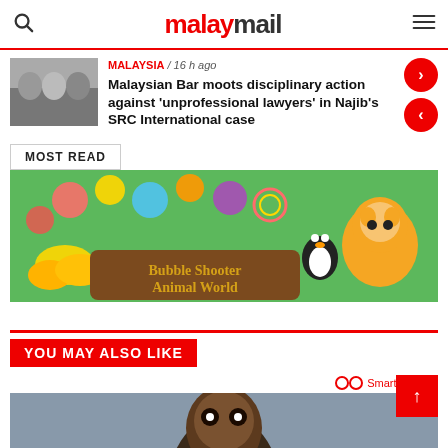malaymail
MALAYSIA / 16 h ago
Malaysian Bar moots disciplinary action against 'unprofessional lawyers' in Najib's SRC International case
MOST READ
[Figure (photo): Advertisement for Bubble Shooter Animal World game showing colorful animals and bubbles]
YOU MAY ALSO LIKE
[Figure (photo): Photo of a person (basketball player) from chest up against a grey background]